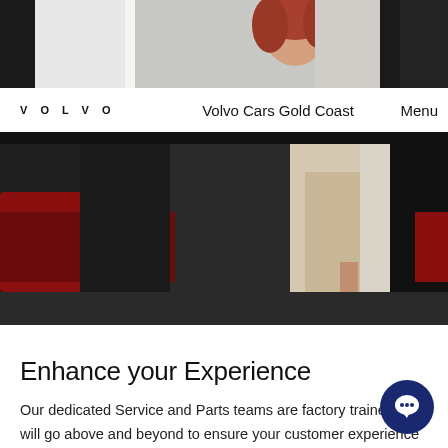[Figure (photo): Top portion of a photo showing a woman with red hair near a car, partially cropped at top of page]
VOLVO   Volvo Cars Gold Coast   Menu
[Figure (photo): Main photo of a woman in beige outfit standing near a dark Volvo car interior/exterior in a showroom setting]
Enhance your Experience
Our dedicated Service and Parts teams are factory trained and will go above and beyond to ensure your customer experience is second to none. You will be treated to barista made coffee while you wait, or you can take advantage of our courtesy transfers to and from the city.